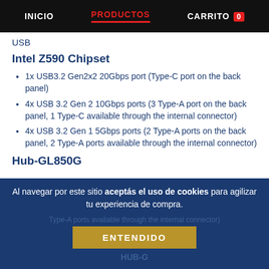INICIO  PRODUCTOS  CARRITO 0
USB
Intel Z590 Chipset
1x USB3.2 Gen2x2 20Gbps port (Type-C port on the back panel)
4x USB 3.2 Gen 2 10Gbps ports (3 Type-A port on the back panel, 1 Type-C available through the internal connector)
4x USB 3.2 Gen 1 5Gbps ports (2 Type-A ports on the back panel, 2 Type-A ports available through the internal connector)
Hub-GL850G
Al navegar por este sitio aceptás el uso de cookies para agilizar tu experiencia de compra.
ENTENDIDO